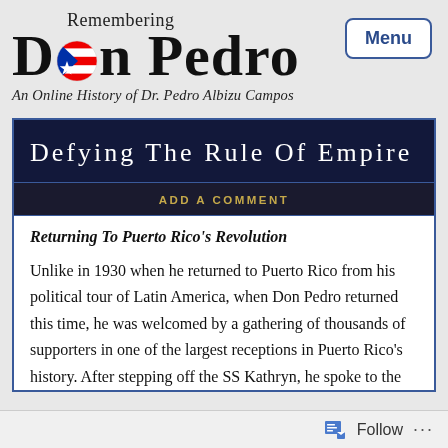[Figure (logo): Website logo for 'Remembering Don Pedro - An Online History of Dr. Pedro Albizu Campos' with a photo of Don Pedro and Puerto Rico flag integrated into the text, and a 'Menu' button in the top right corner.]
Defying The Rule Of Empire
ADD A COMMENT
Returning To Puerto Rico's Revolution
Unlike in 1930 when he returned to Puerto Rico from his political tour of Latin America, when Don Pedro returned this time, he was welcomed by a gathering of thousands of supporters in one of the largest receptions in Puerto Rico's history. After stepping off the SS Kathryn, he spoke to the
Follow